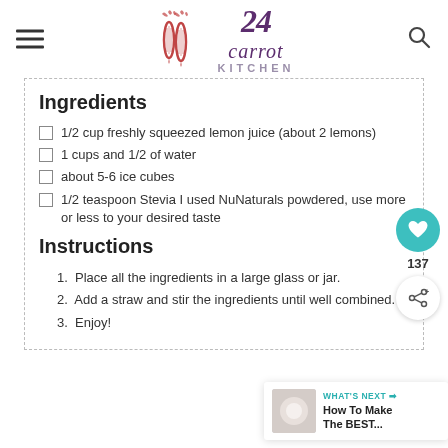24 Carrot Kitchen
Ingredients
1/2 cup freshly squeezed lemon juice (about 2 lemons)
1 cups and 1/2 of water
about 5-6 ice cubes
1/2 teaspoon Stevia I used NuNaturals powdered, use more or less to your desired taste
Instructions
1. Place all the ingredients in a large glass or jar.
2. Add a straw and stir the ingredients until well combined.
3. Enjoy!
[Figure (other): WHAT'S NEXT promotional widget with thumbnail showing 'How To Make The BEST...']